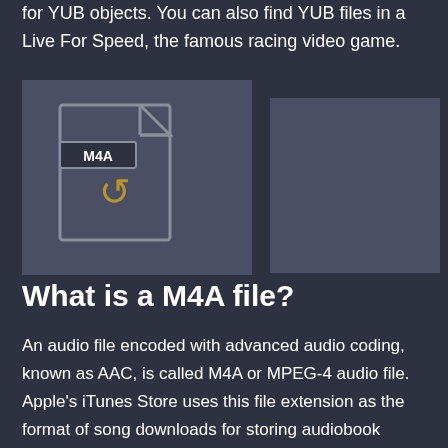for YUB objects. You can also find YUB files in a Live For Speed, the famous racing video game.
[Figure (illustration): M4A file icon with a conversion/refresh symbol in gold, overlaid on a dark gray rectangle background on the left, and a second dark gray rectangle on the right]
What is a M4A file?
An audio file encoded with advanced audio coding, known as AAC, is called M4A or MPEG-4 audio file. Apple's iTunes Store uses this file extension as the format of song downloads for storing audiobook content and digital music. This type of file format is unprotected, and protected ones are usually saved in M4P format. The key feature of every M4A file